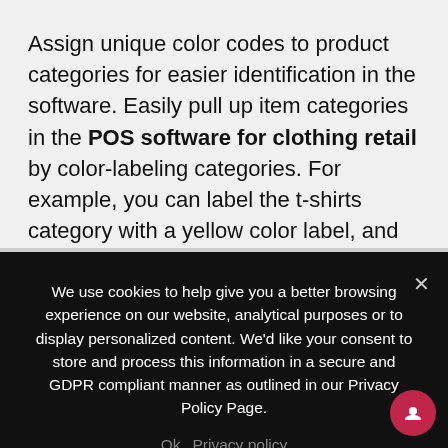Assign unique color codes to product categories for easier identification in the software. Easily pull up item categories in the POS software for clothing retail by color-labeling categories. For example, you can label the t-shirts category with a yellow color label, and pants with a blue color label.
We use cookies to help give you a better browsing experience on our website, analytical purposes or to display personalized content. We'd like your consent to store and process this information in a secure and GDPR compliant manner as outlined in our Privacy Policy Page.
Ok   Privacy policy